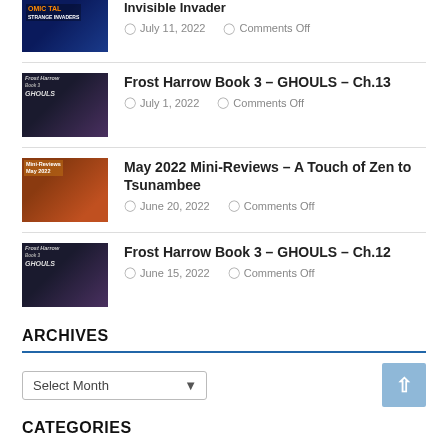[Figure (illustration): Book cover thumbnail for Invisible Invader, showing cosmic/space theme with blue tones]
Invisible Invader
July 11, 2022  Comments Off
[Figure (illustration): Book cover thumbnail for Frost Harrow Book 3 – GHOULS, dark mansion scene]
Frost Harrow Book 3 – GHOULS – Ch.13
July 1, 2022  Comments Off
[Figure (illustration): Thumbnail for May 2022 Mini-Reviews with woman figure and orange tones]
May 2022 Mini-Reviews – A Touch of Zen to Tsunambee
June 20, 2022  Comments Off
[Figure (illustration): Book cover thumbnail for Frost Harrow Book 3 – GHOULS, dark mansion scene]
Frost Harrow Book 3 – GHOULS – Ch.12
June 15, 2022  Comments Off
ARCHIVES
Select Month
CATEGORIES